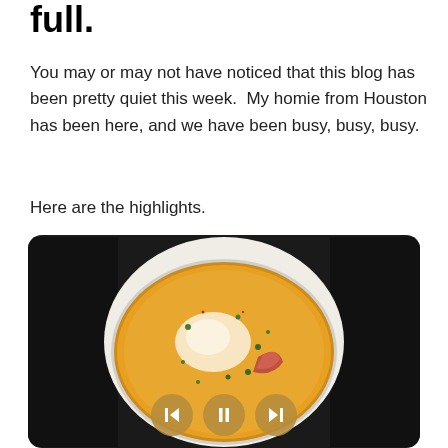full.
You may or may not have noticed that this blog has been pretty quiet this week.  My homie from Houston has been here, and we have been busy, busy, busy.
Here are the highlights.
[Figure (photo): A bowl of orange/yellow soup with cream swirl, herbs, and vegetables, displayed in a dark tablet-style media player frame with navigation controls (back, pause, forward) at the bottom.]